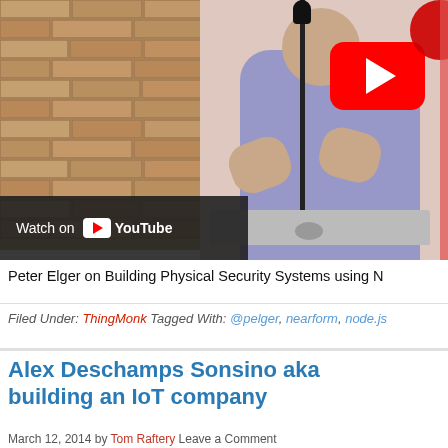[Figure (screenshot): YouTube video thumbnail showing a speaker presenting at a conference with a brick wall background and a YouTube play button overlay. A 'Watch on YouTube' bar is visible at the bottom of the thumbnail.]
Peter Elger on Building Physical Security Systems using N
Filed Under: ThingMonk Tagged With: @pelger, nearform, node.js
Alex Deschamps Sonsino aka building an IoT company
March 12, 2014 by Tom Raftery Leave a Comment